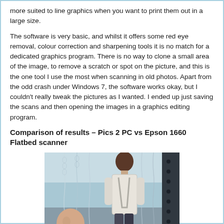more suited to line graphics when you want to print them out in a large size.
The software is very basic, and whilst it offers some red eye removal, colour correction and sharpening tools it is no match for a dedicated graphics program. There is no way to clone a small area of the image, to remove a scratch or spot on the picture, and this is the one tool I use the most when scanning in old photos. Apart from the odd crash under Windows 7, the software works okay, but I couldn't really tweak the pictures as I wanted. I ended up just saving the scans and then opening the images in a graphics editing program.
Comparison of results – Pics 2 PC vs Epson 1660 Flatbed scanner
[Figure (photo): A photograph showing two people, one facing away with dark hair wearing a white/light jacket, and another person partially visible in the foreground, with chains or ropes in the background and a light blue/teal background.]